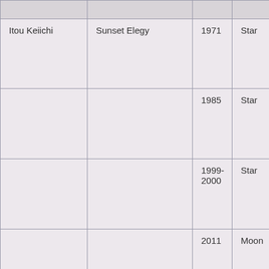|  |  | Year | Type |
| --- | --- | --- | --- |
| Itou Keiichi | Sunset Elegy | 1971 | Star |
|  |  | 1985 | Star |
|  |  | 1999-2000 | Star |
|  |  | 2011 | Moon |
|  |  |  |  |
| Itou Sachie | Song of the… | 1988… | Mo… |